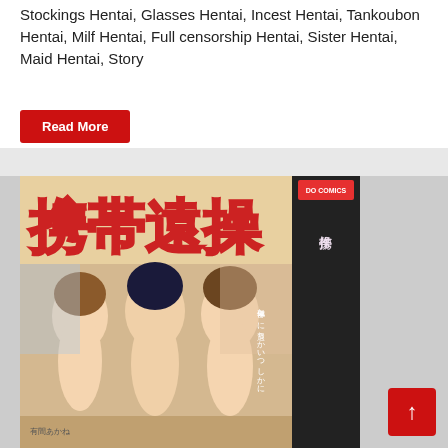Stockings Hentai, Glasses Hentai, Incest Hentai, Tankoubon Hentai, Milf Hentai, Full censorship Hentai, Sister Hentai, Maid Hentai, Story
Read More
[Figure (illustration): Manga/comic book cover illustration showing anime-style characters with Japanese text. A red button with an upward arrow (back to top) is overlaid at the bottom right.]